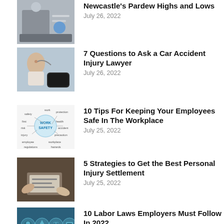[Figure (photo): Person sitting at desk with Newcastle-related items]
Newcastle's Pardew Highs and Lows
July 26, 2022
[Figure (photo): Woman holding neck after car accident]
7 Questions to Ask a Car Accident Injury Lawyer
July 26, 2022
[Figure (photo): Work Safety word cloud diagram with arrows]
10 Tips For Keeping Your Employees Safe In The Workplace
July 25, 2022
[Figure (photo): Hands exchanging a document/check]
5 Strategies to Get the Best Personal Injury Settlement
July 25, 2022
[Figure (photo): Labor law icons on teal background with hand holding phone]
10 Labor Laws Employers Must Follow In 2022
July 20, 2022